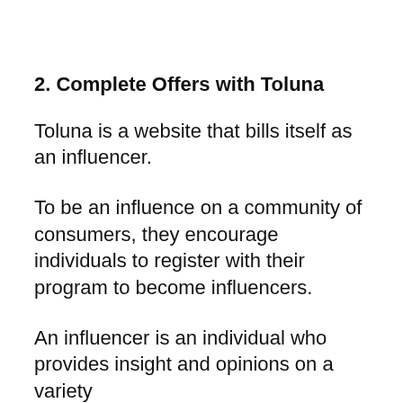2. Complete Offers with Toluna
Toluna is a website that bills itself as an influencer.
To be an influence on a community of consumers, they encourage individuals to register with their program to become influencers.
An influencer is an individual who provides insight and opinions on a variety